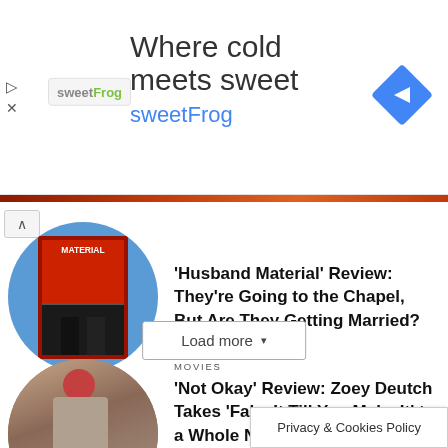[Figure (other): sweetFrog advertisement banner: 'Where cold meets sweet' with sweetFrog logo and blue navigation arrow icon]
[Figure (photo): Circular thumbnail of 'Husband Material' book cover with two figures in tuxedos on red background against blue circle]
'Husband Material' Review: They're Going to the Chapel, But Are They Getting Married?
MOVIES
[Figure (photo): Circular thumbnail of a woman in a gray dress wearing a red beret, posing outdoors]
'Not Okay' Review: Zoey Deutch Takes 'Fake It Till You Make It' to a Whole New Level
Load more
Privacy & Cookies Policy